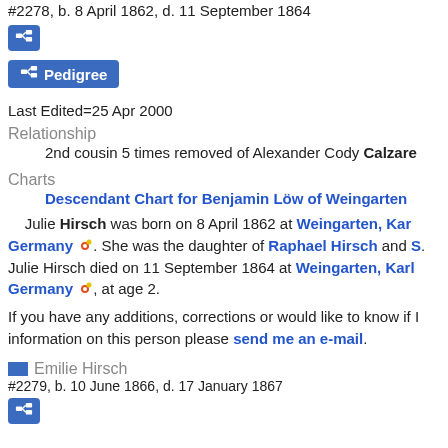#2278, b. 8 April 1862, d. 11 September 1864
[icon button]
Pedigree [button]
Last Edited=25 Apr 2000
Relationship
2nd cousin 5 times removed of Alexander Cody Calzare
Charts
Descendant Chart for Benjamin Löw of Weingarten
Julie Hirsch was born on 8 April 1862 at Weingarten, Karlsruhe, Germany. She was the daughter of Raphael Hirsch and S... Julie Hirsch died on 11 September 1864 at Weingarten, Karlsruhe, Germany, at age 2.
If you have any additions, corrections or would like to know if I have more information on this person please send me an e-mail.
Emilie Hirsch
#2279, b. 10 June 1866, d. 17 January 1867
[icon button]